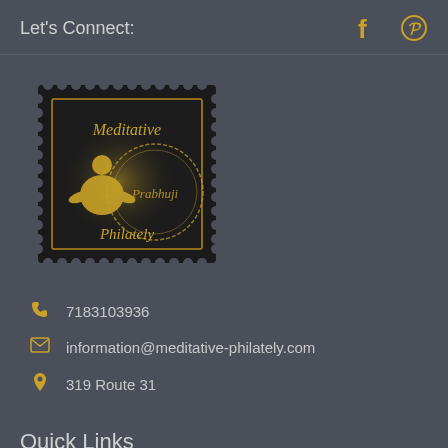Let's Connect:
[Figure (logo): Facebook and Pinterest social media icons in gold color]
[Figure (logo): Meditative Philately stamp logo with meditating figure silhouette and circular Prabhuji seal, dark background with gold accents]
7183103936
information@meditative-philately.com
319 Route 31
Quick Links
About Us